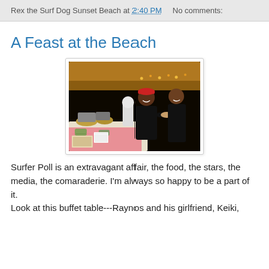Rex the Surf Dog Sunset Beach at 2:40 PM   No comments:
A Feast at the Beach
[Figure (photo): Two people smiling at a buffet table under a tent at night. A man in a black shirt and red cap and a woman in a black dress stand together. The table has chafing dishes and food displays.]
Surfer Poll is an extravagant affair, the food, the stars, the media, the comaraderie. I'm always so happy to be a part of it.
Look at this buffet table---Raynos and his girlfriend, Keiki,